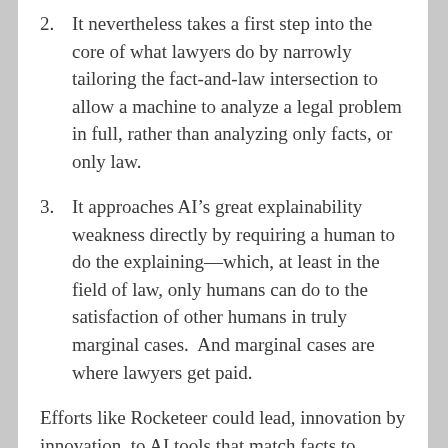2. It nevertheless takes a first step into the core of what lawyers do by narrowly tailoring the fact-and-law intersection to allow a machine to analyze a legal problem in full, rather than analyzing only facts, or only law.
3. It approaches AI’s great explainability weakness directly by requiring a human to do the explaining—which, at least in the field of law, only humans can do to the satisfaction of other humans in truly marginal cases.  And marginal cases are where lawyers get paid.
Efforts like Rocketeer could lead, innovation by innovation, to AI tools that match facts to